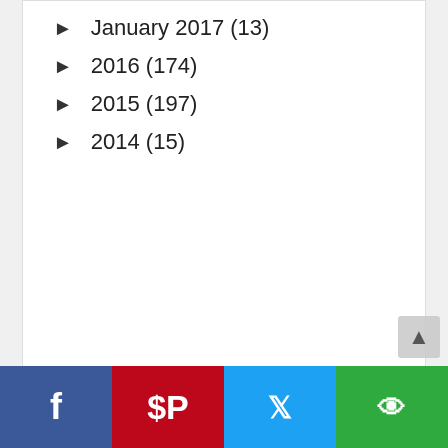► January 2017 (13)
► 2016 (174)
► 2015 (197)
► 2014 (15)
CRESTING THE HILL VISITORS
[Figure (continuous-plot): Small histogram/sparkline showing visitor traffic spikes over time]
1,639,680
CRESTING THE HILL